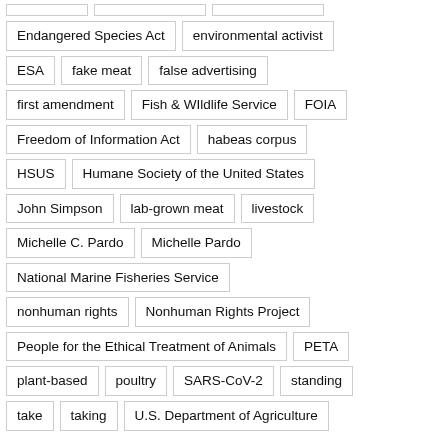Endangered Species Act
environmental activist
ESA
fake meat
false advertising
first amendment
Fish & Wildlife Service
FOIA
Freedom of Information Act
habeas corpus
HSUS
Humane Society of the United States
John Simpson
lab-grown meat
livestock
Michelle C. Pardo
Michelle Pardo
National Marine Fisheries Service
nonhuman rights
Nonhuman Rights Project
People for the Ethical Treatment of Animals
PETA
plant-based
poultry
SARS-CoV-2
standing
take
taking
U.S. Department of Agriculture